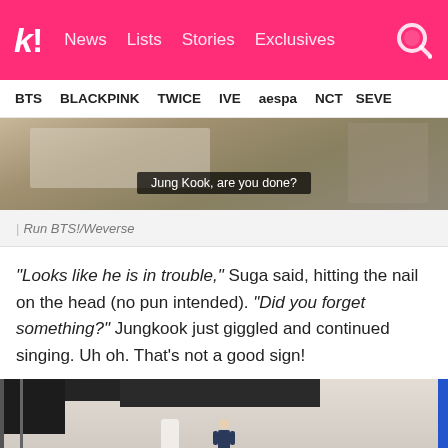k! News Lists Stories Exclusives
BTS  BLACKPINK  TWICE  IVE  aespa  NCT  SEVE
[Figure (screenshot): Screenshot from Run BTS!/Weverse showing a subtitle 'Jung Kook, are you done?' over a scene with people in a room]
| Run BTS!/Weverse
“Looks like he is in trouble,” Suga said, hitting the nail on the head (no pun intended). “Did you forget something?” Jungkook just giggled and continued singing. Uh oh. That’s not a good sign!
[Figure (screenshot): Screenshot from Run BTS!/Weverse showing a person standing in a room with a black ceiling and white walls]